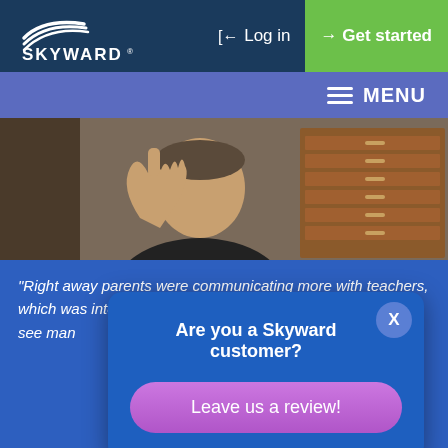[Figure (screenshot): Skyward website screenshot showing navigation bar with logo, Log in button, Get started button, hamburger menu, a photo of a man gesturing with one finger, a quote about parent-teacher communication, and a popup modal asking 'Are you a Skyward customer?' with a 'Leave us a review!' button.]
"Right away parents were communicating more with teachers, which was interesting, because in our old system we didn't see man
Are you a Skyward customer?
Leave us a review!
Pete
MSL
liana